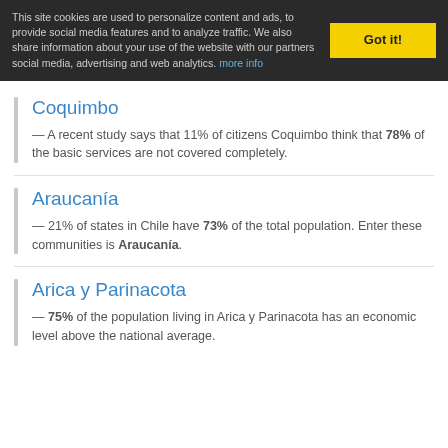This site cookies are used to personalize content and ads, to provide social media features and to analyze traffic. We also share information about your use of the website with our partners social media, advertising and web analytics. more info
Coquimbo
— A recent study says that 11% of citizens Coquimbo think that 78% of the basic services are not covered completely.
Araucanía
— 21% of states in Chile have 73% of the total population. Enter these communities is Araucanía.
Arica y Parinacota
— 75% of the population living in Arica y Parinacota has an economic level above the national average.